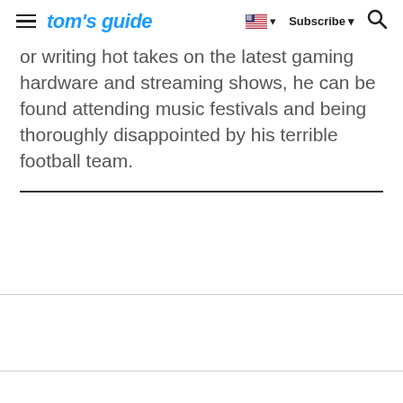tom's guide — Subscribe
or writing hot takes on the latest gaming hardware and streaming shows, he can be found attending music festivals and being thoroughly disappointed by his terrible football team.